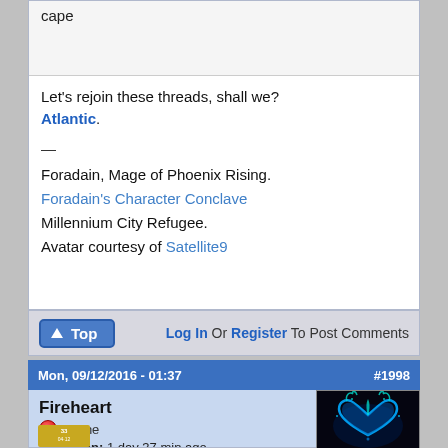cape
Let's rejoin these threads, shall we? Atlantic.
—
Foradain, Mage of Phoenix Rising.
Foradain's Character Conclave
Millennium City Refugee.
Avatar courtesy of Satellite9
↑ Top    Log In Or Register To Post Comments
Mon, 09/12/2016 - 01:37    #1998
Fireheart
Offline
Last seen: 1 day 37 min ago